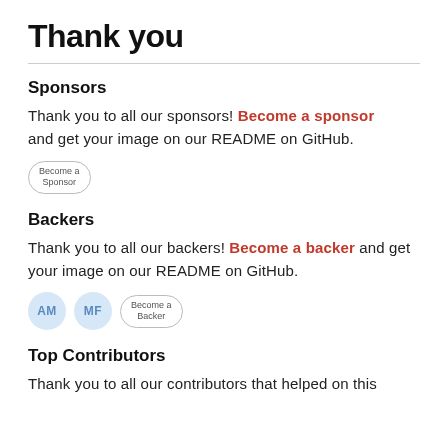Thank you
Sponsors
Thank you to all our sponsors! Become a sponsor and get your image on our README on GitHub.
[Figure (other): A pill-shaped button badge reading 'Become a Sponsor']
Backers
Thank you to all our backers! Become a backer and get your image on our README on GitHub.
[Figure (other): Two circular avatar badges labeled 'AM' and 'MF', and a pill-shaped button badge reading 'Become a Backer']
Top Contributors
Thank you to all our contributors that helped on this